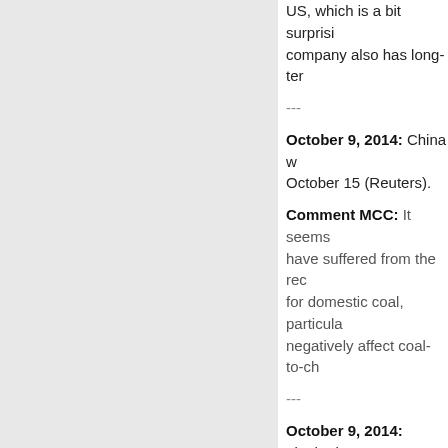US, which is a bit surprisi... company also has long-ter...
---
October 9, 2014: China w... October 15 (Reuters).
Comment MCC: It seems... have suffered from the rec... for domestic coal, particula... negatively affect coal-to-ch...
---
October 9, 2014: Tianhe l...
Comment MCC: So the re... rebuttal, Analytics Anonym... that after giving a statemer... whole issue in a satisfacto...